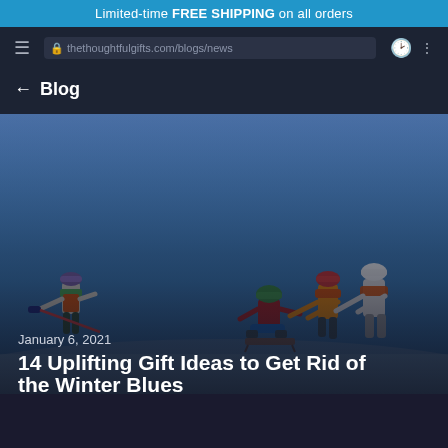Limited-time FREE SHIPPING on all orders
← Blog
[Figure (photo): People sledding outdoors in winter - one person being pulled on a sled by another while two more people push from behind, all wearing colorful winter hats and scarves against a blue winter sky background]
January 6, 2021
14 Uplifting Gift Ideas to Get Rid of the Winter Blues